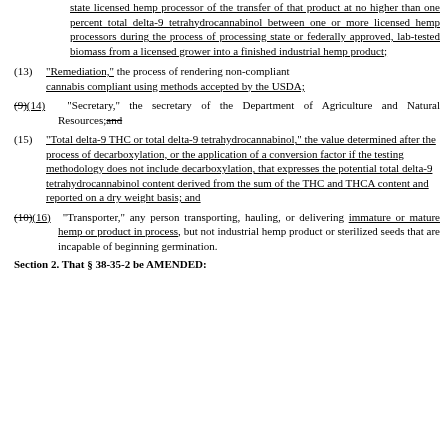state licensed hemp processor of the transfer of that product at no higher than one percent total delta-9 tetrahydrocannabinol between one or more licensed hemp processors during the process of processing state or federally approved, lab-tested biomass from a licensed grower into a finished industrial hemp product;
(13) "Remediation," the process of rendering non-compliant cannabis compliant using methods accepted by the USDA;
(9)(14) "Secretary," the secretary of the Department of Agriculture and Natural Resources; and
(15) "Total delta-9 THC or total delta-9 tetrahydrocannabinol," the value determined after the process of decarboxylation, or the application of a conversion factor if the testing methodology does not include decarboxylation, that expresses the potential total delta-9 tetrahydrocannabinol content derived from the sum of the THC and THCA content and reported on a dry weight basis; and
(10)(16) "Transporter," any person transporting, hauling, or delivering immature or mature hemp or product in process, but not industrial hemp product or sterilized seeds that are incapable of beginning germination.
Section 2. That § 38-35-2 be AMENDED: